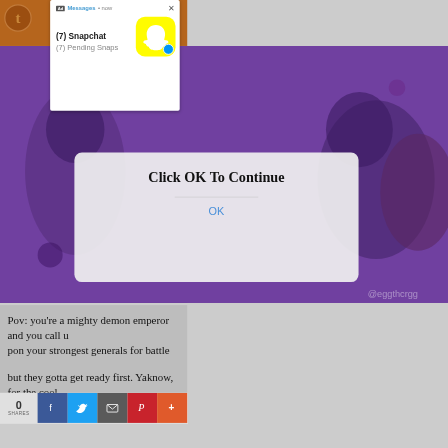[Figure (screenshot): Tumblr app header bar with orange/brown background and Tumblr 't' logo icon in a circle on the left]
[Figure (screenshot): Snapchat advertisement notification banner showing 'Ad Messages • now' with Snapchat ghost icon on yellow background, text '(7) Snapchat' and '(7) Pending Snaps', with X close button]
[Figure (screenshot): Background illustration of animated demon/character figures on purple background]
[Figure (screenshot): iOS-style alert dialog box with text 'Click OK To Continue' and blue 'OK' button]
Pov: you're a mighty demon emperor and you call upon your strongest generals for battle
but they gotta get ready first. Yaknow, for the cool
[Figure (screenshot): Social share bar at bottom with share count '0 SHARES' and buttons for Facebook, Twitter, Email, Pinterest, and more]